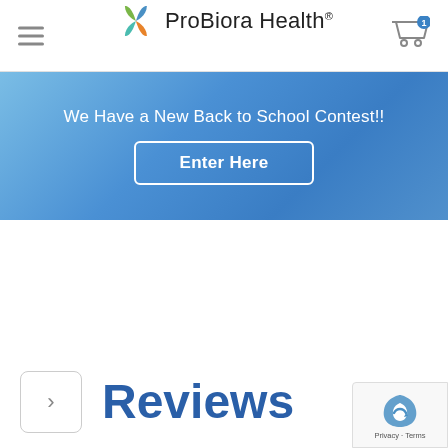ProBiora Health
We Have a New Back to School Contest!!
Enter Here
Reviews